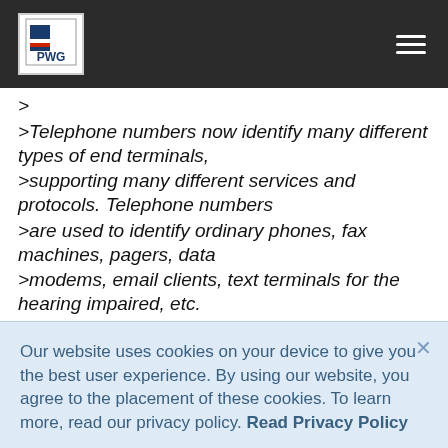PWG (logo) — navigation header
>
>Telephone numbers now identify many different types of end terminals,
>supporting many different services and protocols. Telephone numbers
>are used to identify ordinary phones, fax machines, pagers, data
>modems, email clients, text terminals for the hearing impaired, etc.
>
>A prospective caller may wish to discover which services and
Our website uses cookies on your device to give you the best user experience. By using our website, you agree to the placement of these cookies. To learn more, read our privacy policy. Read Privacy Policy